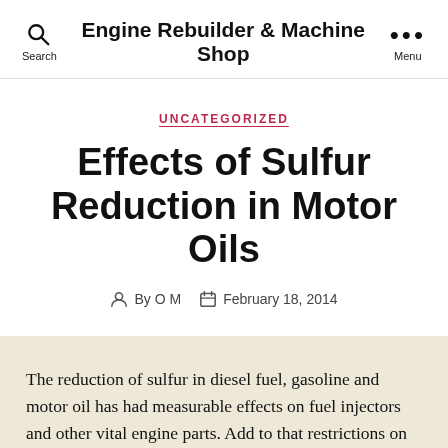Engine Rebuilder & Machine Shop
UNCATEGORIZED
Effects of Sulfur Reduction in Motor Oils
By O M  February 18, 2014
The reduction of sulfur in diesel fuel, gasoline and motor oil has had measurable effects on fuel injectors and other vital engine parts. Add to that restrictions on additives